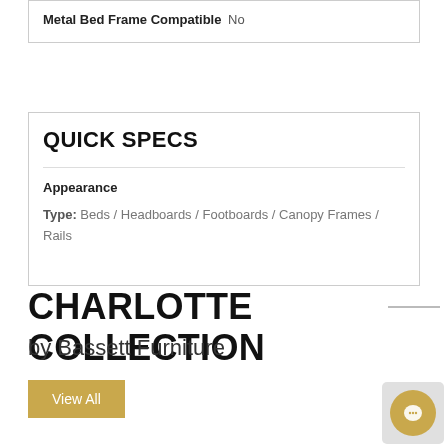| Metal Bed Frame Compatible | No |
QUICK SPECS
Appearance
Type: Beds / Headboards / Footboards / Canopy Frames / Rails
CHARLOTTE COLLECTION
by Bassett Furniture
View All